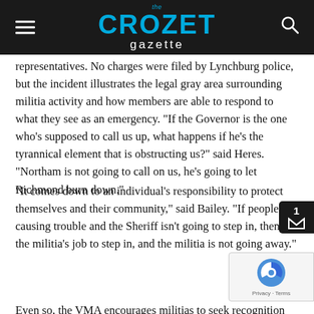the CROZET gazette
representatives. No charges were filed by Lynchburg police, but the incident illustrates the legal gray area surrounding militia activity and how members are able to respond to what they see as an emergency. “If the Governor is the one who’s supposed to call us up, what happens if he’s the tyrannical element that is obstructing us?” said Heres. “Northam is not going to call on us, he’s going to let Richmond burn down.”
“It comes down to an individual’s responsibility to protect themselves and their community,” said Bailey. “If people are causing trouble and the Sheriff isn’t going to step in, then it’s the militia’s job to step in, and the militia is not going away.”
Even so, the VMA encourages militias to seek recognition